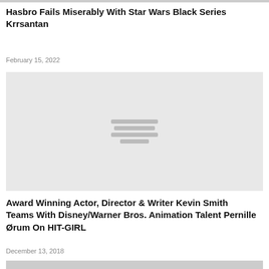[Figure (photo): Partial image visible at top of page, cropped]
Hasbro Fails Miserably With Star Wars Black Series Krrsantan
February 15, 2022
[Figure (photo): Placeholder image with loading icon (three horizontal lines)]
Award Winning Actor, Director & Writer Kevin Smith Teams With Disney/Warner Bros. Animation Talent Pernille Ørum On HIT-GIRL
December 13, 2018
[Figure (photo): Partial image visible at bottom of page, cropped]